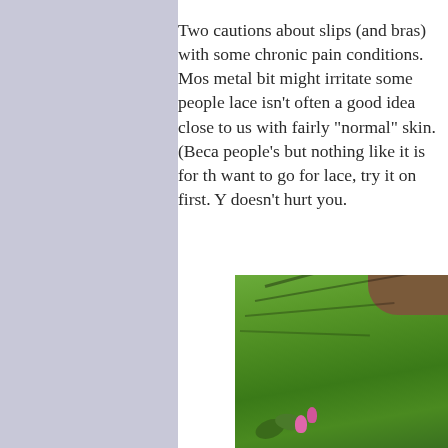Two cautions about slips (and bras) with some chronic pain conditions. Most metal bit might irritate some people, lace isn't often a good idea close to us with fairly "normal" skin. (Beca people's but nothing like it is for th want to go for lace, try it on first. Y doesn't hurt you.
[Figure (photo): Outdoor garden photo showing green grass lawn with tree branch shadows cast across it, dirt/soil visible at top right, and a plant with pink flowers and green leaves in the foreground bottom left.]